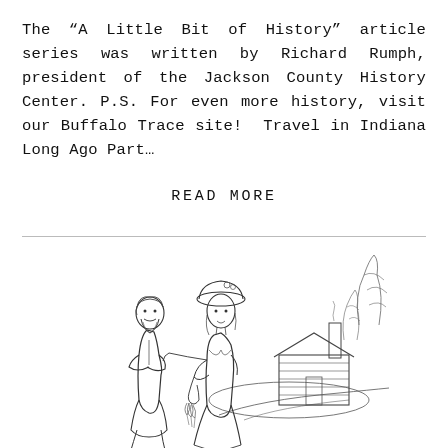The “A Little Bit of History” article series was written by Richard Rumph, president of the Jackson County History Center. P.S. For even more history, visit our Buffalo Trace site!  Travel in Indiana Long Ago Part...
READ MORE
[Figure (illustration): Line drawing illustration of two colonial-era figures (a bearded man with crossed arms wearing a headscarf and a woman wearing a bonnet holding flowers) standing in front of a log cabin with trees and a path in the background.]